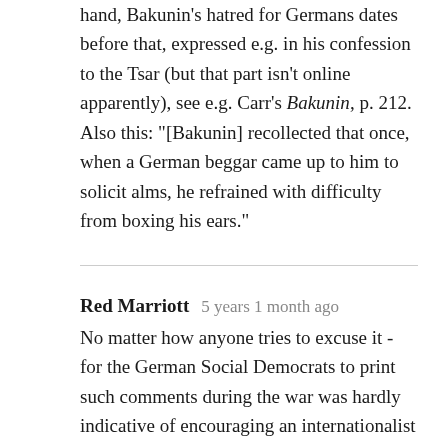hand, Bakunin's hatred for Germans dates before that, expressed e.g. in his confession to the Tsar (but that part isn't online apparently), see e.g. Carr's Bakunin, p. 212. Also this: "[Bakunin] recollected that once, when a German beggar came up to him to solicit alms, he refrained with difficulty from boxing his ears."
Red Marriott   5 years 1 month ago
No matter how anyone tries to excuse it - for the German Social Democrats to print such comments during the war was hardly indicative of encouraging an internationalist stance among the working class - but rather of encouraging national